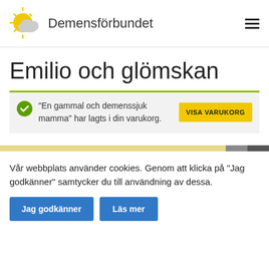Demensförbundet
Emilio och glömskan
"En gammal och demenssjuk mamma" har lagts i din varukorg.
Vår webbplats använder cookies. Genom att klicka på "Jag godkänner" samtycker du till användning av dessa.